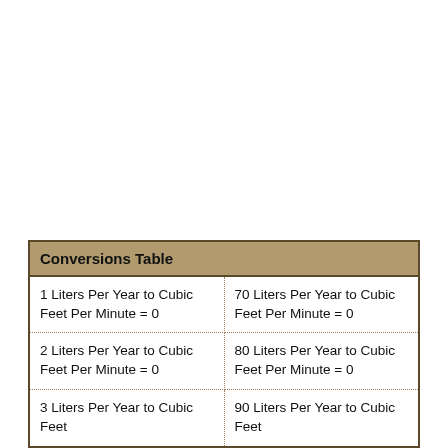| Conversions Table |  |
| --- | --- |
| 1 Liters Per Year to Cubic Feet Per Minute = 0 | 70 Liters Per Year to Cubic Feet Per Minute = 0 |
| 2 Liters Per Year to Cubic Feet Per Minute = 0 | 80 Liters Per Year to Cubic Feet Per Minute = 0 |
| 3 Liters Per Year to Cubic Feet Per Minute = 0 | 90 Liters Per Year to Cubic Feet Per Minute = 0 |